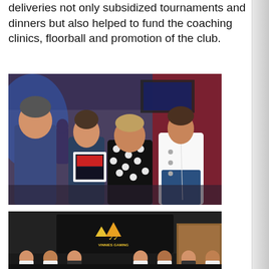deliveries not only subsidized tournaments and dinners but also helped to fund the coaching clinics, floorball and promotion of the club.
[Figure (photo): Four people standing together at an event/ceremony, one holding a framed award/certificate. Event venue with lighting and red curtain/drape in background. Three women and one man.]
[Figure (photo): Group of people seated/standing in a room with a dark banner/logo visible in the background, appearing to be an awards ceremony or club event.]